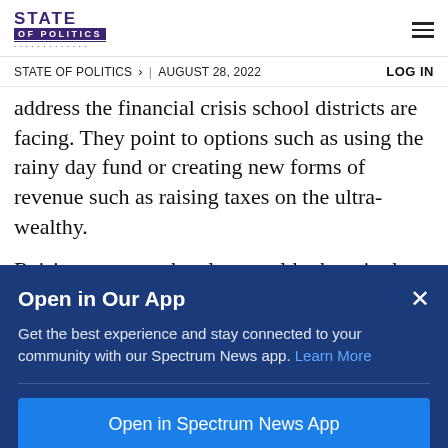STATE OF POLITICS
STATE OF POLITICS > | AUGUST 28, 2022 LOG IN
address the financial crisis school districts are facing. They point to options such as using the rainy day fund or creating new forms of revenue such as raising taxes on the ultra-wealthy.
Raising taxes on the ultra-wealthy here in the
Open in Our App
Get the best experience and stay connected to your community with our Spectrum News app. Learn More
Open in Spectrum News App
Continue in Browser